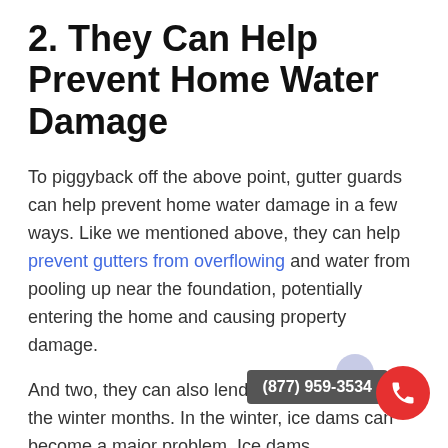2. They Can Help Prevent Home Water Damage
To piggyback off the above point, gutter guards can help prevent home water damage in a few ways. Like we mentioned above, they can help prevent gutters from overflowing and water from pooling up near the foundation, potentially entering the home and causing property damage.
And two, they can also lend a huge hand during the winter months. In the winter, ice dams can become a major problem. Ice dams